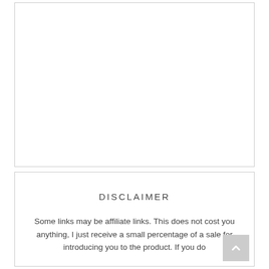[Figure (other): Empty white bordered box, upper section of page]
DISCLAIMER
Some links may be affiliate links. This does not cost you anything, I just receive a small percentage of a sale for introducing you to the product. If you do